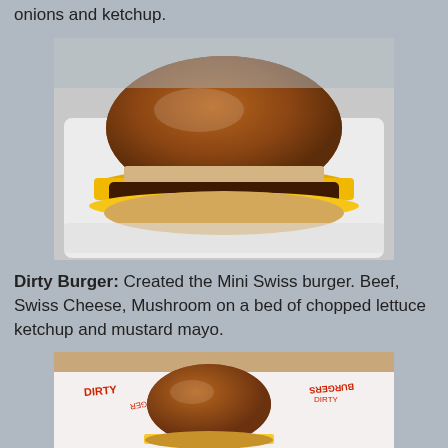onions and ketchup.
[Figure (photo): A cheeseburger with melted yellow cheese on a white styrofoam tray. The burger has a glossy brown bun and appears to have caramelized onions and cheese spilling out.]
Dirty Burger: Created the Mini Swiss burger. Beef, Swiss Cheese, Mushroom on a bed of chopped lettuce ketchup and mustard mayo.
[Figure (photo): A small burger (Mini Swiss burger) on branded Dirty Burger wrapping paper with red text. The burger has a brown bun with visible cheese and filling.]